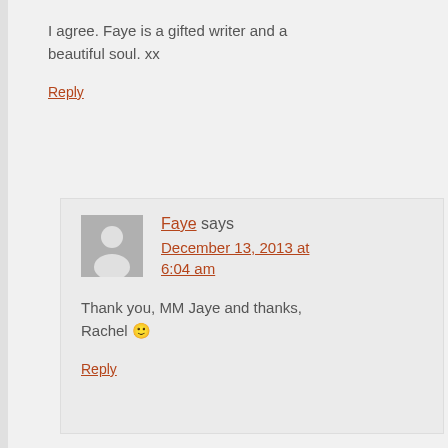I agree. Faye is a gifted writer and a beautiful soul. xx
Reply
Faye says December 13, 2013 at 6:04 am
Thank you, MM Jaye and thanks, Rachel 🙂
Reply